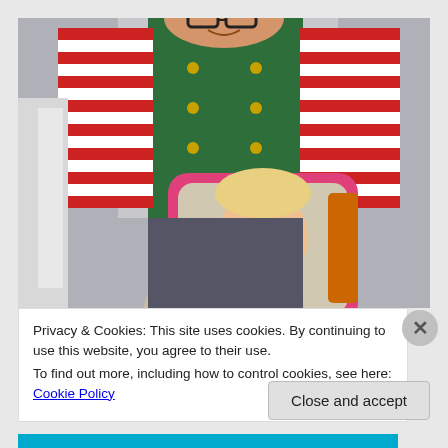[Figure (photo): A person dressed in an elf costume (green vest with gold buttons over a red and white striped long-sleeve shirt) bending down toward a child. The child, who has rainbow face paint, is looking into a pink-framed mirror. The back of another child's blonde head is visible in the foreground.]
Privacy & Cookies: This site uses cookies. By continuing to use this website, you agree to their use.
To find out more, including how to control cookies, see here: Cookie Policy